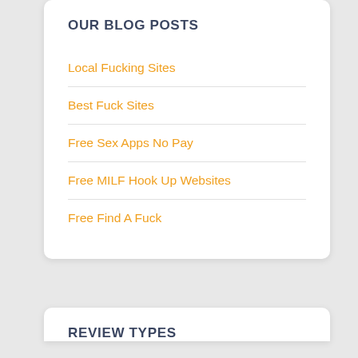OUR BLOG POSTS
Local Fucking Sites
Best Fuck Sites
Free Sex Apps No Pay
Free MILF Hook Up Websites
Free Find A Fuck
REVIEW TYPES